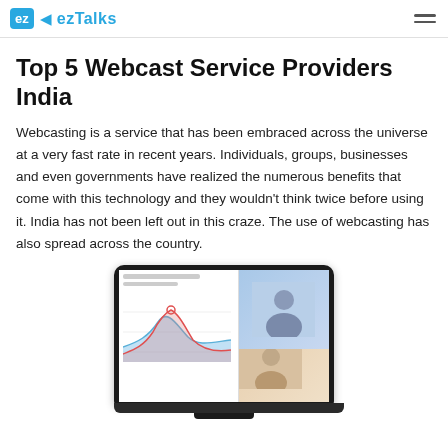ezTalks
Top 5 Webcast Service Providers India
Webcasting is a service that has been embraced across the universe at a very fast rate in recent years. Individuals, groups, businesses and even governments have realized the numerous benefits that come with this technology and they wouldn't think twice before using it. India has not been left out in this craze. The use of webcasting has also spread across the country.
[Figure (screenshot): Laptop screen showing a webcast interface with a line chart on the left side and a person visible on the right side]